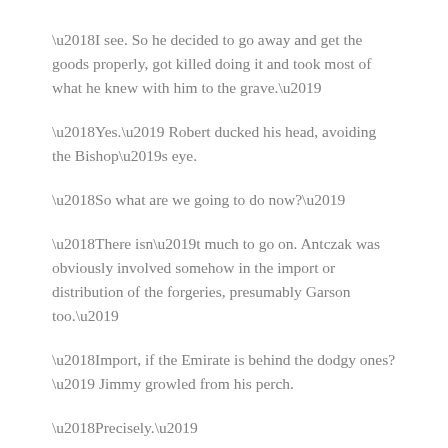‘I see. So he decided to go away and get the goods properly, got killed doing it and took most of what he knew with him to the grave.’
‘Yes.’ Robert ducked his head, avoiding the Bishop’s eye.
‘So what are we going to do now?’
‘There isn’t much to go on. Antczak was obviously involved somehow in the import or distribution of the forgeries, presumably Garson too.’
‘Import, if the Emirate is behind the dodgy ones?’ Jimmy growled from his perch.
‘Precisely.’